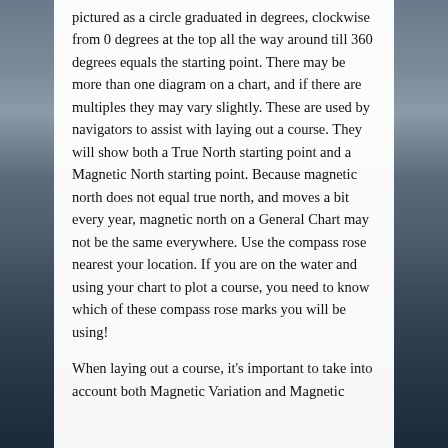pictured as a circle graduated in degrees, clockwise from 0 degrees at the top all the way around till 360 degrees equals the starting point. There may be more than one diagram on a chart, and if there are multiples they may vary slightly. These are used by navigators to assist with laying out a course. They will show both a True North starting point and a Magnetic North starting point. Because magnetic north does not equal true north, and moves a bit every year, magnetic north on a General Chart may not be the same everywhere. Use the compass rose nearest your location. If you are on the water and using your chart to plot a course, you need to know which of these compass rose marks you will be using!
When laying out a course, it's important to take into account both Magnetic Variation and Magnetic